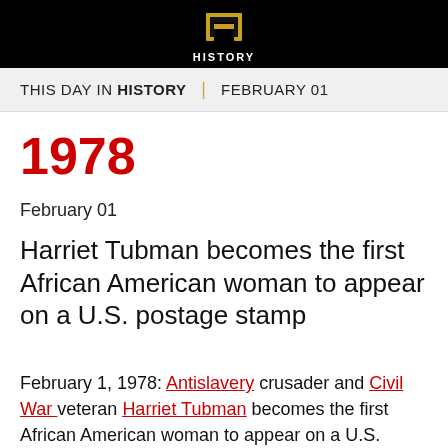[Figure (logo): History Channel logo — stylized H shape in gold/brown on black background with text HISTORY below]
THIS DAY IN HISTORY | FEBRUARY 01
1978
February 01
Harriet Tubman becomes the first African American woman to appear on a U.S. postage stamp
February 1, 1978: Antislavery crusader and Civil War veteran Harriet Tubman becomes the first African American woman to appear on a U.S. postage stamp, the first in the